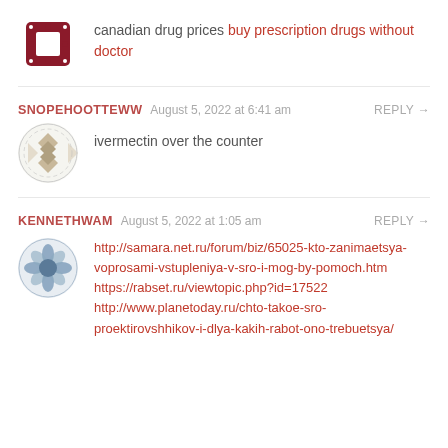[Figure (illustration): Dark red decorative avatar icon with square pattern and dots]
canadian drug prices buy prescription drugs without doctor
SNOPEHOOTTEWW   August 5, 2022 at 6:41 am   REPLY →
[Figure (illustration): Light gray/tan decorative avatar icon with diamond pattern]
ivermectin over the counter
KENNETHWAM   August 5, 2022 at 1:05 am   REPLY →
[Figure (illustration): Blue/gray decorative avatar icon with flower/star pattern]
http://samara.net.ru/forum/biz/65025-kto-zanimaetsya-voprosami-vstupleniya-v-sro-i-mog-by-pomoch.htm https://rabset.ru/viewtopic.php?id=17522 http://www.planetoday.ru/chto-takoe-sro-proektirovshhikov-i-dlya-kakih-rabot-ono-trebuetsya/